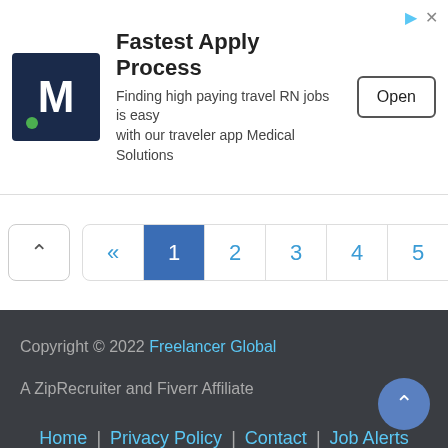[Figure (screenshot): Advertisement banner for Medical Solutions showing logo with M, headline 'Fastest Apply Process', subtitle 'Finding high paying travel RN jobs is easy with our traveler app Medical Solutions', and an Open button.]
« 1 2 3 4 5 ..... 500 »
Copyright © 2022 Freelancer Global
A ZipRecruiter and Fiverr Affiliate
Home | Privacy Policy | Contact | Job Alerts